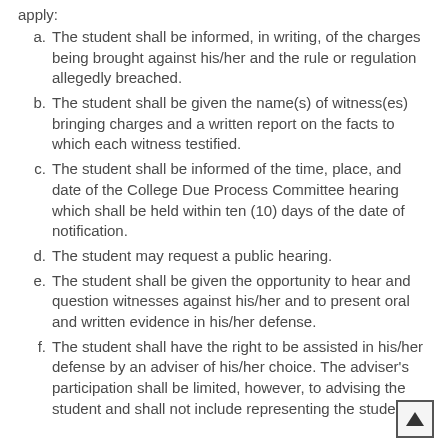apply:
a. The student shall be informed, in writing, of the charges being brought against his/her and the rule or regulation allegedly breached.
b. The student shall be given the name(s) of witness(es) bringing charges and a written report on the facts to which each witness testified.
c. The student shall be informed of the time, place, and date of the College Due Process Committee hearing which shall be held within ten (10) days of the date of notification.
d. The student may request a public hearing.
e. The student shall be given the opportunity to hear and question witnesses against his/her and to present oral and written evidence in his/her defense.
f. The student shall have the right to be assisted in his/her defense by an adviser of his/her choice. The adviser's participation shall be limited, however, to advising the student and shall not include representing the student.